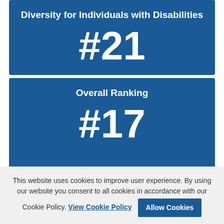[Figure (infographic): Blue card showing ranking: Diversity for Individuals with Disabilities #21]
[Figure (infographic): Blue card showing Overall Ranking #17 (partially visible)]
This website uses cookies to improve user experience. By using our website you consent to all cookies in accordance with our Cookie Policy. View Cookie Policy   Allow Cookies